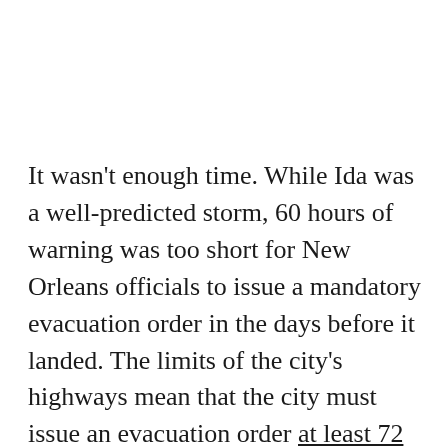It wasn't enough time. While Ida was a well-predicted storm, 60 hours of warning was too short for New Orleans officials to issue a mandatory evacuation order in the days before it landed. The limits of the city's highways mean that the city must issue an evacuation order at least 72 hours before tropical-storm winds hit land. Officials said last year that the coronavirus pandemic means they may need 82 hours of warning, to account for the increased difficulty of moving and sheltering people.